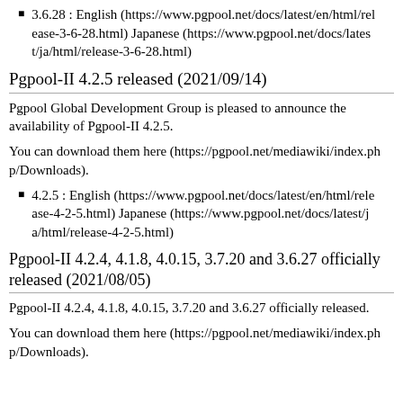3.6.28 : English (https://www.pgpool.net/docs/latest/en/html/release-3-6-28.html) Japanese (https://www.pgpool.net/docs/latest/ja/html/release-3-6-28.html)
Pgpool-II 4.2.5 released (2021/09/14)
Pgpool Global Development Group is pleased to announce the availability of Pgpool-II 4.2.5.
You can download them here (https://pgpool.net/mediawiki/index.php/Downloads).
4.2.5 : English (https://www.pgpool.net/docs/latest/en/html/release-4-2-5.html) Japanese (https://www.pgpool.net/docs/latest/ja/html/release-4-2-5.html)
Pgpool-II 4.2.4, 4.1.8, 4.0.15, 3.7.20 and 3.6.27 officially released (2021/08/05)
Pgpool-II 4.2.4, 4.1.8, 4.0.15, 3.7.20 and 3.6.27 officially released.
You can download them here (https://pgpool.net/mediawiki/index.php/Downloads).